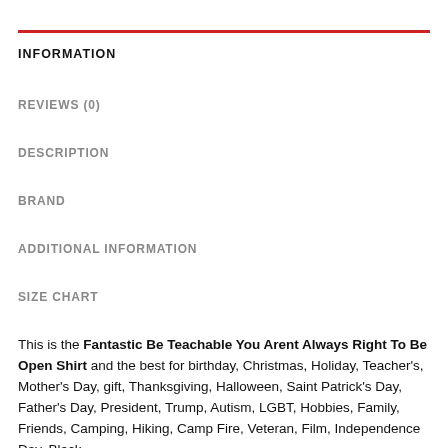INFORMATION
REVIEWS (0)
DESCRIPTION
BRAND
ADDITIONAL INFORMATION
SIZE CHART
This is the Fantastic Be Teachable You Arent Always Right To Be Open Shirt and the best for birthday, Christmas, Holiday, Teacher's, Mother's Day, gift, Thanksgiving, Halloween, Saint Patrick's Day, Father's Day, President, Trump, Autism, LGBT, Hobbies, Family, Friends, Camping, Hiking, Camp Fire, Veteran, Film, Independence Day, Black